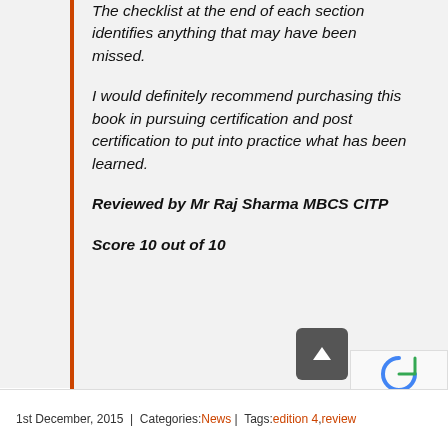The checklist at the end of each section identifies anything that may have been missed.
I would definitely recommend purchasing this book in pursuing certification and post certification to put into practice what has been learned.
Reviewed by Mr Raj Sharma MBCS CITP
Score 10 out of 10
1st December, 2015 | Categories: News | Tags: edition 4, review